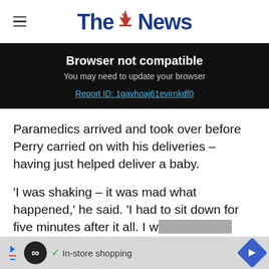The News
Browser not compatible
You may need to update your browser
Report ID: 1gavhoaj61evirnkdf0
Paramedics arrived and took over before Perry carried on with his deliveries – having just helped deliver a baby.
'I was shaking – it was mad what happened,' he said. 'I had to sit down for five minutes after it all. I was in shock. I missed some of my delivery slots.